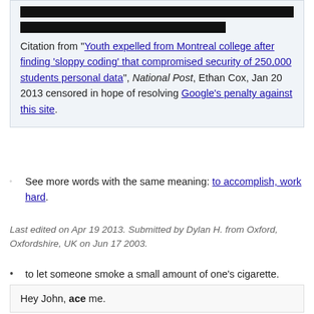[Figure (other): Two black redacted bars at the top of a citation box]
Citation from "Youth expelled from Montreal college after finding 'sloppy coding' that compromised security of 250,000 students personal data", National Post, Ethan Cox, Jan 20 2013 censored in hope of resolving Google's penalty against this site.
See more words with the same meaning: to accomplish, work hard.
Last edited on Apr 19 2013. Submitted by Dylan H. from Oxford, Oxfordshire, UK on Jun 17 2003.
to let someone smoke a small amount of one's cigarette.
Hey John, ace me.
See more words with the same meaning: